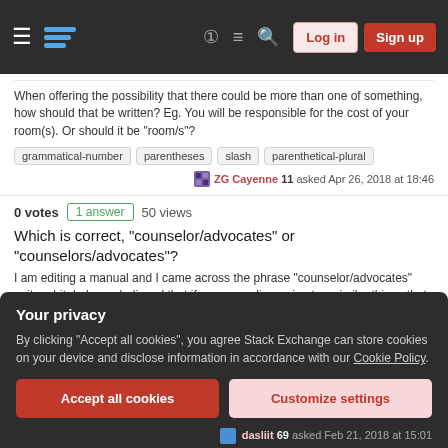Stack Exchange navigation header with Log in and Sign up buttons
When offering the possibility that there could be more than one of something, how should that be written? Eg. You will be responsible for the cost of your room(s). Or should it be "room/s"?
grammatical-number
parentheses
slash
parenthetical-plural
ZG Cayenne 11 asked Apr 26, 2018 at 18:46
0 votes  1 answer  50 views
Which is correct, "counselor/advocates" or "counselors/advocates"?
I am editing a manual and I came across the phrase "counselor/advocates" quite a bit. I always believed that if you were discussing two similar things that were plural and used a backslas...
grammatical-number
slash
T.Turner 9 asked Apr 11, 2018 at 16:17
Your privacy
By clicking "Accept all cookies", you agree Stack Exchange can store cookies on your device and disclose information in accordance with our Cookie Policy.
Accept all cookies
Customize settings
dasliit 69 asked Feb 21, 2018 at 15:01